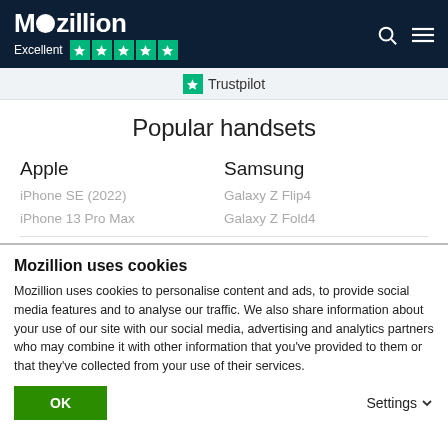Mozillion — Excellent ★★★★★
[Figure (logo): Trustpilot logo with star icon]
Popular handsets
Apple
iPhone SE (2022)
iPhone 13 Pro Max
Samsung
Galaxy Z Flip4
Galaxy Z Fold4
Mozillion uses cookies
Mozillion uses cookies to personalise content and ads, to provide social media features and to analyse our traffic. We also share information about your use of our site with our social media, advertising and analytics partners who may combine it with other information that you've provided to them or that they've collected from your use of their services.
OK
Settings